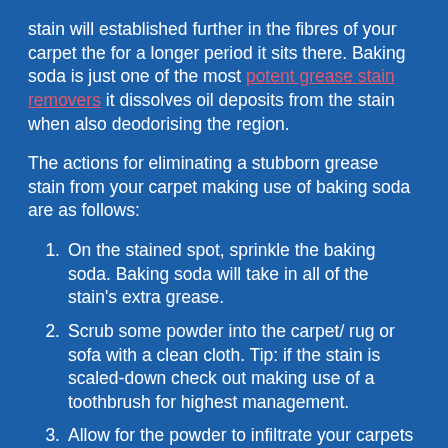stain will established further in the fibres of your carpet the for a longer period it sits there. Baking soda is just one of the most potent grease stain removers it dissolves oil deposits from the stain when also deodorising the region.
The actions for eliminating a stubborn grease stain from your carpet making use of baking soda are as follows:
On the stained spot, sprinkle the baking soda. Baking soda will take in all of the stain's extra grease.
Scrub some powder into the carpet/ rug or sofa with a clean cloth. Tip: if the stain is scaled-down check out making use of a toothbrush for highest management.
Allow for the powder to infiltrate your carpets or rugs fibres and absorb a lot more grease by applying light stress.